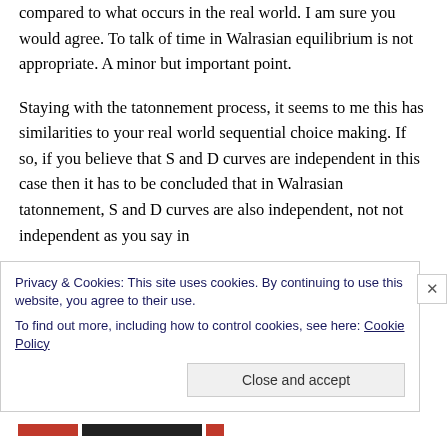compared to what occurs in the real world. I am sure you would agree. To talk of time in Walrasian equilibrium is not appropriate. A minor but important point.
Staying with the tatonnement process, it seems to me this has similarities to your real world sequential choice making. If so, if you believe that S and D curves are independent in this case then it has to be concluded that in Walrasian tatonnement, S and D curves are also independent, not not independent as you say in
Privacy & Cookies: This site uses cookies. By continuing to use this website, you agree to their use.
To find out more, including how to control cookies, see here: Cookie Policy